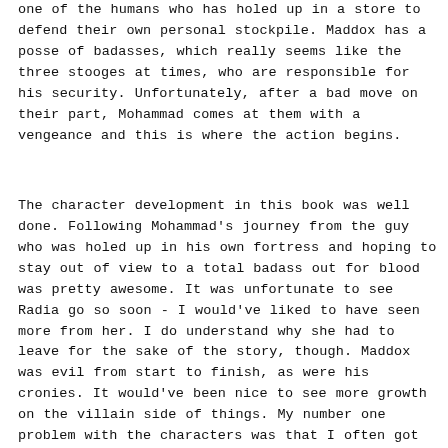one of the humans who has holed up in a store to defend their own personal stockpile. Maddox has a posse of badasses, which really seems like the three stooges at times, who are responsible for his security. Unfortunately, after a bad move on their part, Mohammad comes at them with a vengeance and this is where the action begins.
The character development in this book was well done. Following Mohammad's journey from the guy who was holed up in his own fortress and hoping to stay out of view to a total badass out for blood was pretty awesome. It was unfortunate to see Radia go so soon - I would've liked to have seen more from her. I do understand why she had to leave for the sake of the story, though. Maddox was evil from start to finish, as were his cronies. It would've been nice to see more growth on the villain side of things. My number one problem with the characters was that I often got confused about who was talking at any given time. Some characters are given multiple titles - for example, Mohammad is called "the Fijian" and Maddox is called "the hunter." Honestly, I was halfway through the book before I realized that Maddox and "the hunter" were the same person!